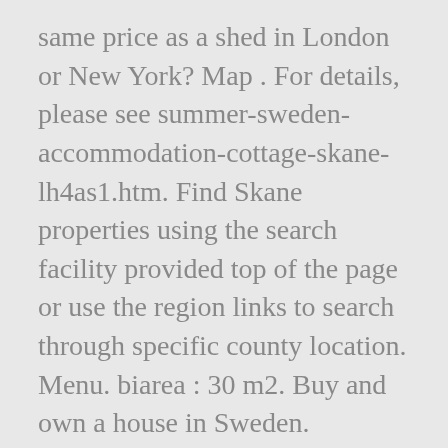same price as a shed in London or New York? Map . For details, please see summer-sweden-accommodation-cottage-skane-lh4as1.htm. Find Skane properties using the search facility provided top of the page or use the region links to search through specific county location. Menu. biarea : 30 m2. Buy and own a house in Sweden. Rightmove.co.uk lists the very latest property in Sweden. Sweden – – For Sale. No registration needed! All our services are free of charge! Book now! Listings of international property for sale in Skane on Global Property Guide. Page 2. Small inventory and art objects are not included. The 10 Best Skåne Lodges – Inns and Lodges in Skåne, Sweden. Check our special offers for select hotel